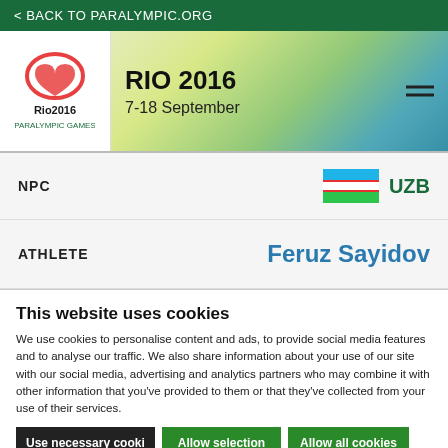< BACK TO PARALYMPIC.ORG
[Figure (logo): Rio 2016 Paralympic Games logo and header banner with decorative background. Shows RIO 2016, 7-18 September and hamburger menu icon.]
| NPC | UZB (Uzbekistan flag) |
| ATHLETE | Feruz Sayidov |
This website uses cookies
We use cookies to personalise content and ads, to provide social media features and to analyse our traffic. We also share information about your use of our site with our social media, advertising and analytics partners who may combine it with other information that you've provided to them or that they've collected from your use of their services.
Use necessary cooki   Allow selection   Allow all cookies
ecessary   Preferences   Statistics   Show details   rketing